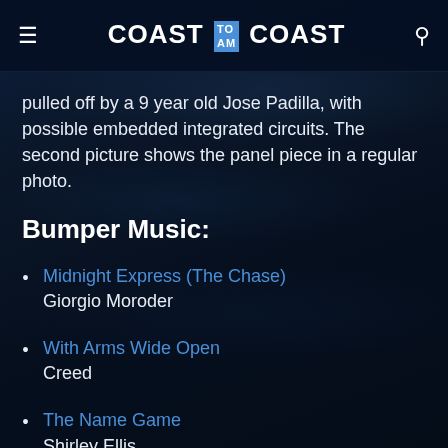COAST TO COAST AM
pulled off by a 9 year old Jose Padilla, with possible embedded integrated circuits. The second picture shows the panel piece in a regular photo.
Bumper Music:
Midnight Express (The Chase)
Giorgio Moroder
With Arms Wide Open
Creed
The Name Game
Shirley Ellis
What's Your Name